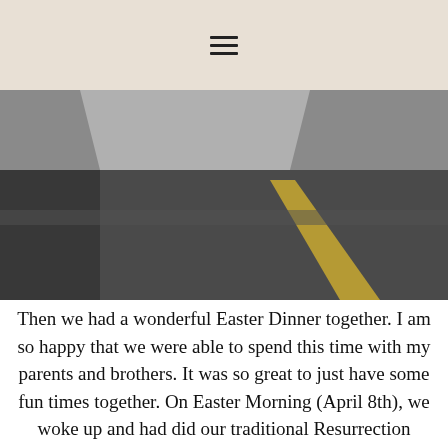≡
[Figure (photo): Photograph of an empty parking lot or road surface with grey asphalt and a yellow stripe/line visible, taken from a low angle.]
Then we had a wonderful Easter Dinner together. I am so happy that we were able to spend this time with my parents and brothers. It was so great to just have some fun times together. On Easter Morning (April 8th), we woke up and had did our traditional Resurrection Rolls and talked about the Savior. I also started a new tradition with some special plastic eggs, filled with scriptures and a special symbol that represented the scripture. It was special to read these with Grandpa and Grandma and Uncle Lane